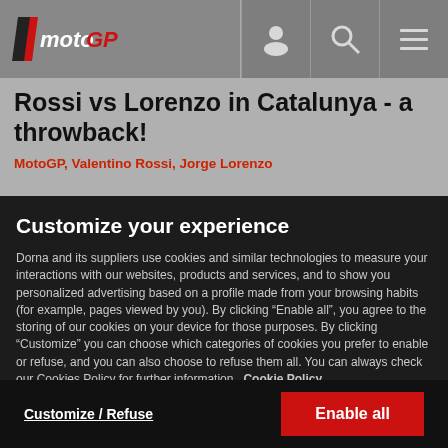MotoGP logo header with navigation icons (user, search, menu)
Rossi vs Lorenzo in Catalunya - a throwback!
MotoGP, Valentino Rossi, Jorge Lorenzo
Customize your experience
Dorna and its suppliers use cookies and similar technologies to measure your interactions with our websites, products and services, and to show you personalized advertising based on a profile made from your browsing habits (for example, pages viewed by you). By clicking “Enable all”, you agree to the storing of our cookies on your device for those purposes. By clicking “Customize” you can choose which categories of cookies you prefer to enable or refuse, and you can also choose to refuse them all. You can always check our Cookies Policy for further information. Cookie Policy
Customize / Refuse
Enable all